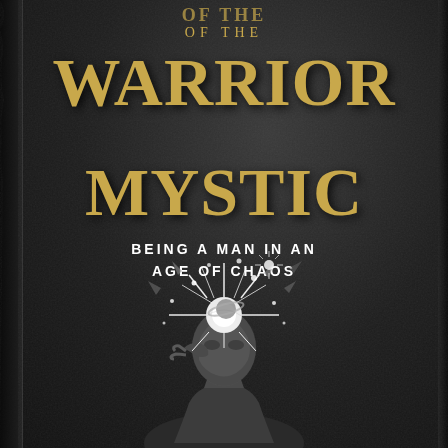[Figure (illustration): Book cover of 'The Path of the Warrior Mystic: Being a Man in an Age of Chaos'. Dark textured background with large golden title text. Central illustration shows a classical bust/statue of a man with cosmic explosion of stars and planets emanating from the head region.]
OF THE
WARRIOR
MYSTIC
BEING A MAN IN AN AGE OF CHAOS